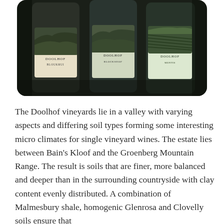[Figure (photo): Three Doolhof wine bottles standing together on a textured surface. Each bottle features landscape imagery on the label. The labels read 'DOOLHOF' and appear to show different vineyard scenes.]
The Doolhof vineyards lie in a valley with varying aspects and differing soil types forming some interesting micro climates for single vineyard wines. The estate lies between Bain's Kloof and the Groenberg Mountain Range. The result is soils that are finer, more balanced and deeper than in the surrounding countryside with clay content evenly distributed. A combination of Malmesbury shale, homogenic Glenrosa and Clovelly soils ensure that